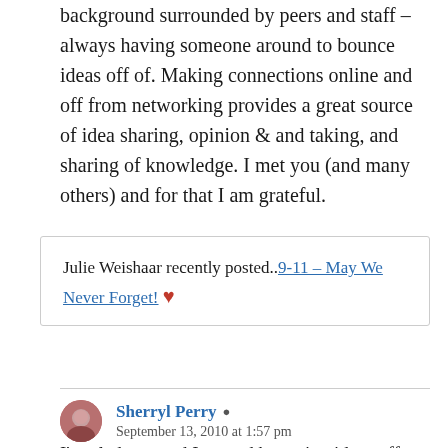background surrounded by peers and staff – always having someone around to bounce ideas off of. Making connections online and off from networking provides a great source of idea sharing, opinion & and taking, and sharing of knowledge. I met you (and many others) and for that I am grateful.
Julie Weishaar recently posted..9-11 – May We Never Forget! ♥
Sherryl Perry
September 13, 2010 at 1:57 pm
I'm glad you and I started bouncing ideas off